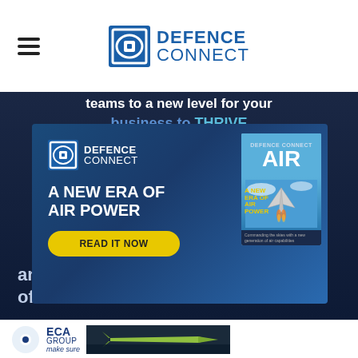DEFENCE CONNECT
[Figure (screenshot): Dark blue promotional banner with text 'teams to a new level for your business to THRIVE']
[Figure (infographic): Defence Connect advertisement overlay showing magazine cover 'A NEW ERA OF AIR POWER' with READ IT NOW button and Air magazine cover image]
and sustain the fleet of the future.
[Figure (logo): ECA GROUP 'make sure' logo banner with yellow-green torpedo/missile image on dark background]